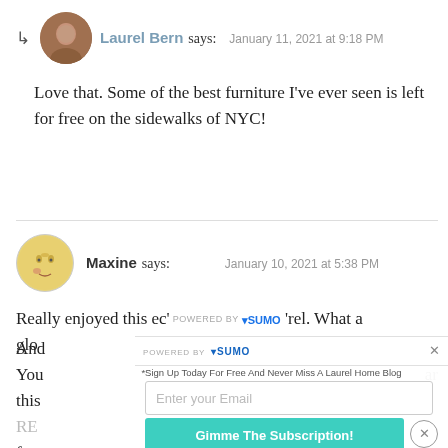Laurel Bern says: January 11, 2021 at 9:18 PM
Love that. Some of the best furniture I've ever seen is left for free on the sidewalks of NYC!
Maxine says: January 10, 2021 at 5:38 PM
Really enjoyed this ec' ... rel. What a glo ... And ... You ... ar this ...
*Sign Up Today For Free And Never Miss A Laurel Home Blog Post*
Gimme The Subscription!